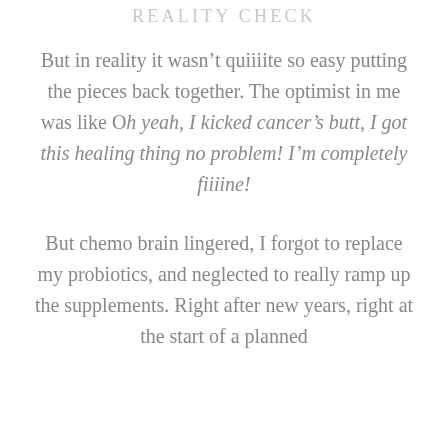REALITY CHECK
But in reality it wasn’t quiiiite so easy putting the pieces back together. The optimist in me was like Oh yeah, I kicked cancer’s butt, I got this healing thing no problem! I’m completely fiiiine!
But chemo brain lingered, I forgot to replace my probiotics, and neglected to really ramp up the supplements. Right after new years, right at the start of a planned